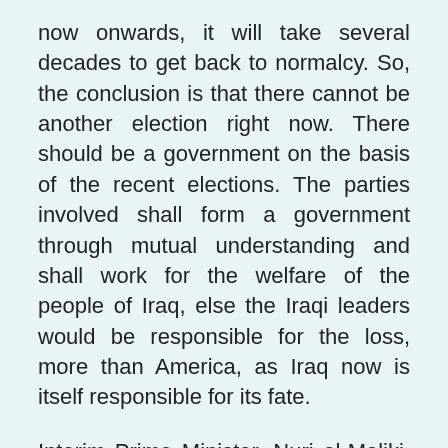now onwards, it will take several decades to get back to normalcy. So, the conclusion is that there cannot be another election right now. There should be a government on the basis of the recent elections. The parties involved shall form a government through mutual understanding and shall work for the welfare of the people of Iraq, else the Iraqi leaders would be responsible for the loss, more than America, as Iraq now is itself responsible for its fate.
Interim Prime Minister, Nuri al-Maliki, has expressed his confidence that Iraqi security forces and police are very much capable of defending their